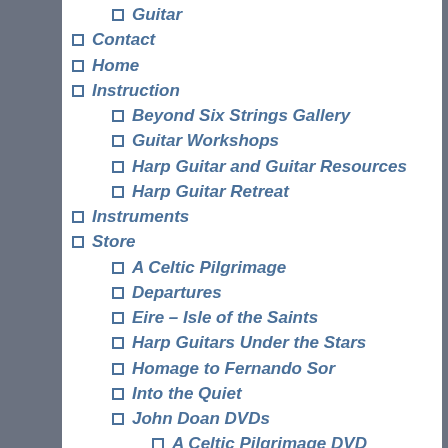Guitar
Contact
Home
Instruction
Beyond Six Strings Gallery
Guitar Workshops
Harp Guitar and Guitar Resources
Harp Guitar Retreat
Instruments
Store
A Celtic Pilgrimage
Departures
Eire – Isle of the Saints
Harp Guitars Under the Stars
Homage to Fernando Sor
Into the Quiet
John Doan DVDs
A Celtic Pilgrimage DVD
Close Encounters of a Bird Kind DVD
In Search of the Harp Guitar DVD
John Doan Live in Concert DVD
Primal Twang DVD